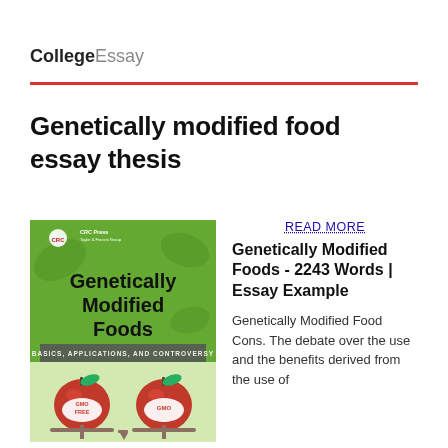CollegeEssay
Genetically modified food essay thesis
[Figure (photo): Book cover of 'Genetically Modified Foods: Basics, Applications, and Controversy' published by CRC Press, showing two apple-like GMO food items on a scale, one labeled GMO FREE and the other GMO, on a green background.]
READ MORE
Genetically Modified Foods - 2243 Words | Essay Example
Genetically Modified Food Cons. The debate over the use and the benefits derived from the use of genetically modified food has